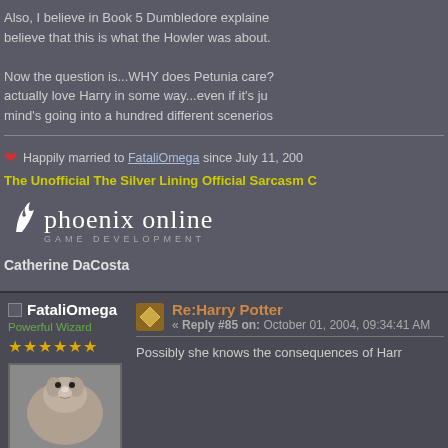Also, I believe in Book 5 Dumbledore explained... believe that this is what the Howler was about.
Now the question is...WHY does Petunia care?... actually love Harry in some way...even if it's just... mind's going into a hundred different scenerios.
❤ Happily married to FataliOmega since July 11, 200...
The Unofficial The Silver Lining Official Sarcasm C...
[Figure (logo): Phoenix Online Game Development logo in white text]
Catherine DaCosta
FataliOmega
Powerful Wizard
Re:Harry Potter « Reply #85 on: October 01, 2004, 09:34:41 AM
Possibly she knows the consequences of Harr...